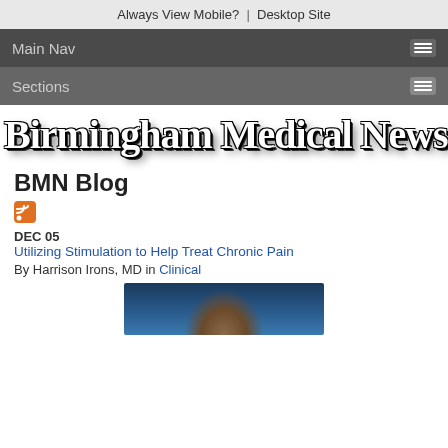Always View Mobile? | Desktop Site
Main Nav
Sections
[Figure (logo): Birmingham Medical News logo in large bold serif font with white fill and black shadow/outline]
BMN Blog
[Figure (illustration): RSS feed icon (orange square with white wifi-style signal arcs)]
DEC 05
Utilizing Stimulation to Help Treat Chronic Pain
By Harrison Irons, MD in Clinical
[Figure (photo): Partial photo of a person against dark blue background, only top of head visible at bottom of page]